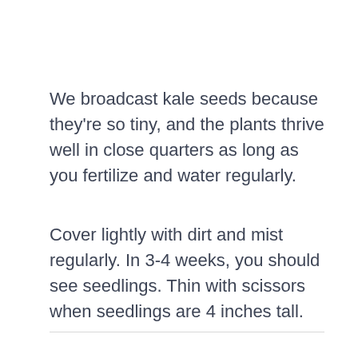We broadcast kale seeds because they're so tiny, and the plants thrive well in close quarters as long as you fertilize and water regularly.
Cover lightly with dirt and mist regularly. In 3-4 weeks, you should see seedlings. Thin with scissors when seedlings are 4 inches tall.